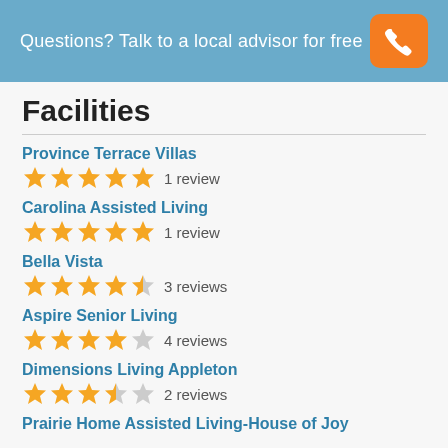Questions? Talk to a local advisor for free
Facilities
Province Terrace Villas  ★★★★★  1 review
Carolina Assisted Living  ★★★★★  1 review
Bella Vista  ★★★★½  3 reviews
Aspire Senior Living  ★★★★☆  4 reviews
Dimensions Living Appleton  ★★★½☆  2 reviews
Prairie Home Assisted Living-House of Joy